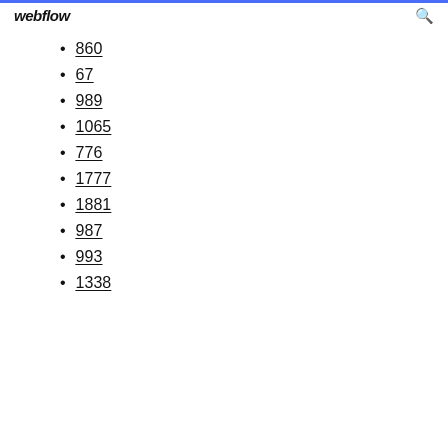webflow
860
67
989
1065
776
1777
1881
987
993
1338